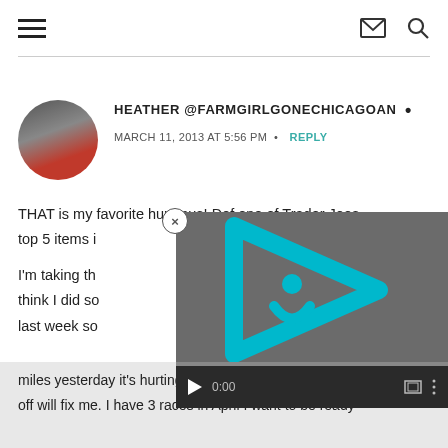Navigation header with hamburger menu, mail icon, and search icon
HEATHER @FARMGIRLGONECHICAGOAN •
MARCH 11, 2013 AT 5:56 PM  •  REPLY
THAT is my favorite hummus! Def one of Trader Joes top 5 items i
[Figure (other): Video player overlay with cyan play button icon and controls showing 0:00]
I'm taking th... think I did so... last week so...
miles yesterday it's hurting :( I hope taking this week off will fix me. I have 3 races in April I want to be ready